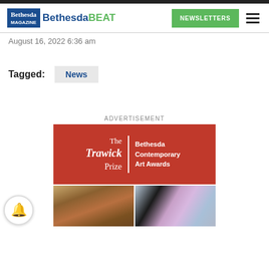Bethesda Beat
August 16, 2022 6:36 am
Tagged: News
ADVERTISEMENT
[Figure (illustration): The Trawick Prize — Bethesda Contemporary Art Awards advertisement banner (red background, white text and decorative vertical line divider)]
[Figure (photo): Two artwork photos side by side: left shows fiber/textile sculpture, right shows a quilt with geometric and bottle motifs]